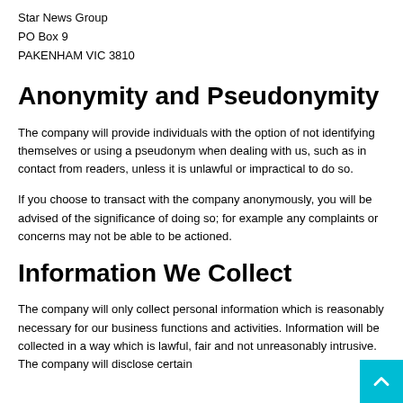Star News Group
PO Box 9
PAKENHAM VIC 3810
Anonymity and Pseudonymity
The company will provide individuals with the option of not identifying themselves or using a pseudonym when dealing with us, such as in contact from readers, unless it is unlawful or impractical to do so.
If you choose to transact with the company anonymously, you will be advised of the significance of doing so; for example any complaints or concerns may not be able to be actioned.
Information We Collect
The company will only collect personal information which is reasonably necessary for our business functions and activities. Information will be collected in a way which is lawful, fair and not unreasonably intrusive. The company will disclose certain